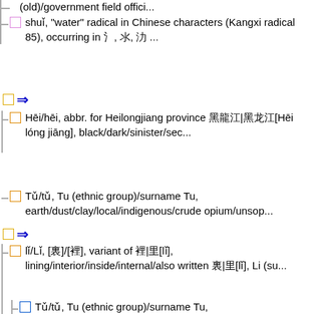(old)/government field offici...
shuǐ, "water" radical in Chinese characters (Kangxi radical 85), occurring in 氵, 氺, 氻 ...
⇒
Hēi/hēi, abbr. for Heilongjiang province 黑龍江|黑龙江[Hēi lóng jiāng], black/dark/sinister/sec...
Tǔ/tǔ, Tu (ethnic group)/surname Tu, earth/dust/clay/local/indigenous/crude opium/unsop...
⇒
lǐ/Lǐ, [裏]/[裡], variant of 裡|里[lǐ], lining/interior/inside/internal/also written 裏|里[lǐ], Li (su...
Tǔ/tǔ, Tu (ethnic group)/surname Tu, earth/dust/clay/local/indigenous/crude opium/unsop...